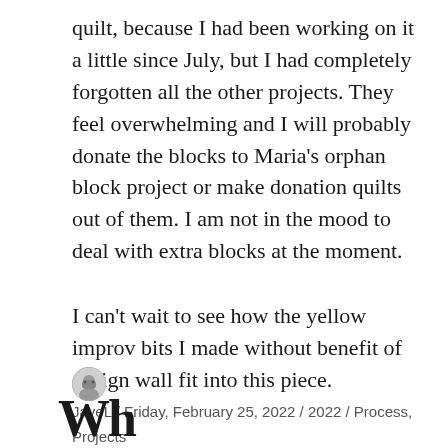quilt, because I had been working on it a little since July, but I had completely forgotten all the other projects. They feel overwhelming and I will probably donate the blocks to Maria's orphan block project or make donation quilts out of them. I am not in the mood to deal with extra blocks at the moment.
I can't wait to see how the yellow improv bits I made without benefit of design wall fit into this piece.
JayeL / Friday, February 25, 2022 / 2022 / Process, Projects
Wh...